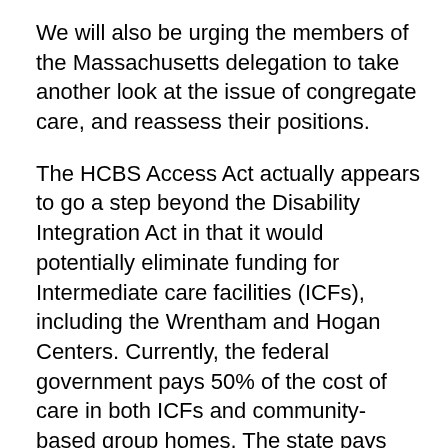We will also be urging the members of the Massachusetts delegation to take another look at the issue of congregate care, and reassess their positions.
The HCBS Access Act actually appears to go a step beyond the Disability Integration Act in that it would potentially eliminate funding for Intermediate care facilities (ICFs), including the Wrentham and Hogan Centers. Currently, the federal government pays 50% of the cost of care in both ICFs and community-based group homes. The state pays the other 50% of the cost.
The HCBS Access Act would change that federal-state funding formula to require the federal government to pay 100% of community-based group home costs. The federal share of the cost of ICFs would remain at 50%. That would also...